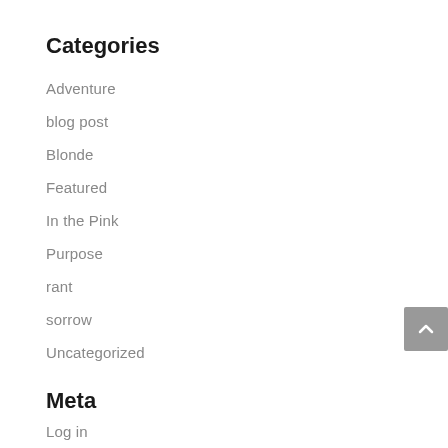Categories
Adventure
blog post
Blonde
Featured
In the Pink
Purpose
rant
sorrow
Uncategorized
Meta
Log in
Entries feed